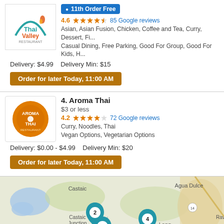[Figure (logo): Thai Valley Restaurant logo with teal arch and flame icon]
11th Order Free
4.6 ★★★★½ 85 Google reviews
Asian, Asian Fusion, Chicken, Coffee and Tea, Curry, Dessert, Fi...
Casual Dining, Free Parking, Good For Group, Good For Kids, H...
Delivery: $4.99    Delivery Min: $15
Order for later Today, 11:00 AM
4. Aroma Thai
[Figure (logo): Aroma Thai orange circular logo]
$3 or less
4.2 ★★★★☆ 72 Google reviews
Curry, Noodles, Thai
Vegan Options, Vegetarian Options
Delivery: $0.00 - $4.99    Delivery Min: $20
Order for later Today, 11:00 AM
[Figure (map): Map of Santa Clarita area showing Castaic, Agua Dulce, Castaic Junction, Piru, Humphreys, Lang with map pins numbered 1, 2, and 4]